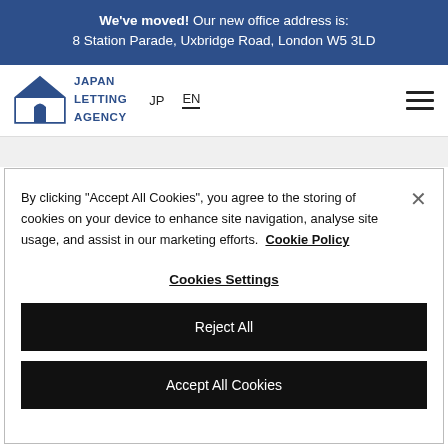We've moved! Our new office address is: 8 Station Parade, Uxbridge Road, London W5 3LD
[Figure (logo): Japan Letting Agency logo with house icon and text 'JAPAN LETTING AGENCY', navigation links JP and EN, hamburger menu icon]
By clicking "Accept All Cookies", you agree to the storing of cookies on your device to enhance site navigation, analyse site usage, and assist in our marketing efforts. Cookie Policy
Cookies Settings
Reject All
Accept All Cookies